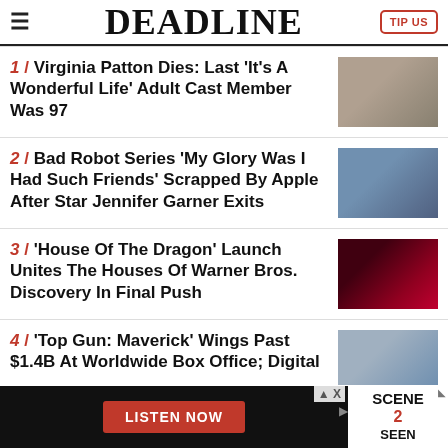DEADLINE
1 / Virginia Patton Dies: Last 'It's A Wonderful Life' Adult Cast Member Was 97
2 / Bad Robot Series 'My Glory Was I Had Such Friends' Scrapped By Apple After Star Jennifer Garner Exits
3 / 'House Of The Dragon' Launch Unites The Houses Of Warner Bros. Discovery In Final Push
4 / 'Top Gun: Maverick' Wings Past $1.4B At Worldwide Box Office; Digital
[Figure (infographic): Advertisement banner: LISTEN NOW button on black background, Scene 2 Seen logo on right]